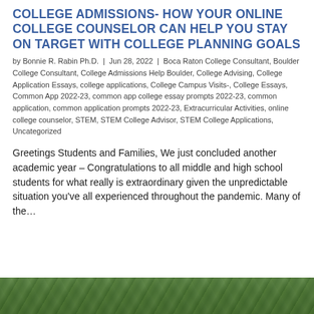COLLEGE ADMISSIONS- HOW YOUR ONLINE COLLEGE COUNSELOR CAN HELP YOU STAY ON TARGET WITH COLLEGE PLANNING GOALS
by Bonnie R. Rabin Ph.D. | Jun 28, 2022 | Boca Raton College Consultant, Boulder College Consultant, College Admissions Help Boulder, College Advising, College Application Essays, college applications, College Campus Visits-, College Essays, Common App 2022-23, common app college essay prompts 2022-23, common application, common application prompts 2022-23, Extracurricular Activities, online college counselor, STEM, STEM College Advisor, STEM College Applications, Uncategorized
Greetings Students and Families, We just concluded another academic year – Congratulations to all middle and high school students for what really is extraordinary given the unpredictable situation you've all experienced throughout the pandemic. Many of the…
[Figure (photo): Partial view of a green nature/foliage image at the bottom of the page]